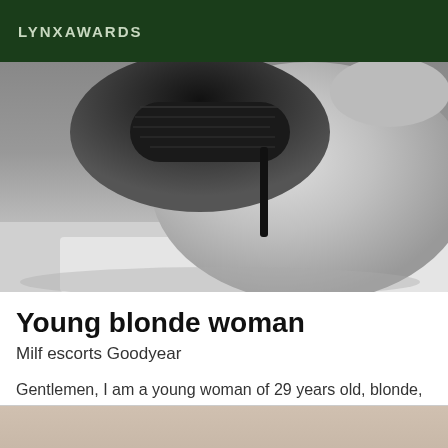LYNXAWARDS
[Figure (photo): Black and white photo of a person in black lace lingerie lying on a bed, showing torso and back]
Young blonde woman
Milf escorts Goodyear
Gentlemen, I am a young woman of 29 years old, blonde, voluptuous shapes, 95B chest size. I offer you a moment of relaxation in my company. For more information, please contact me.